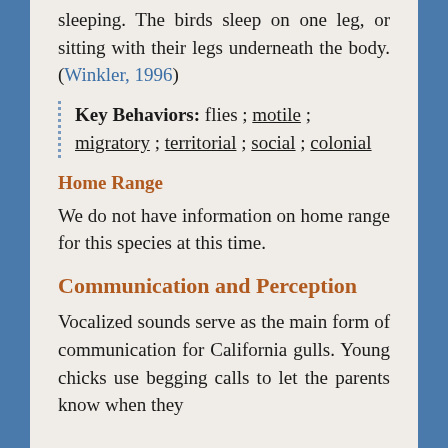sleeping. The birds sleep on one leg, or sitting with their legs underneath the body. (Winkler, 1996)
Key Behaviors: flies ; motile ; migratory ; territorial ; social ; colonial
Home Range
We do not have information on home range for this species at this time.
Communication and Perception
Vocalized sounds serve as the main form of communication for California gulls. Young chicks use begging calls to let the parents know when they